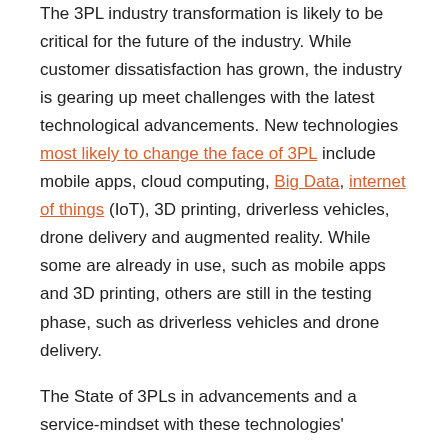The 3PL industry transformation is likely to be critical for the future of the industry. While customer dissatisfaction has grown, the industry is gearing up meet challenges with the latest technological advancements. New technologies most likely to change the face of 3PL include mobile apps, cloud computing, Big Data, internet of things (IoT), 3D printing, driverless vehicles, drone delivery and augmented reality. While some are already in use, such as mobile apps and 3D printing, others are still in the testing phase, such as driverless vehicles and drone delivery.
The State of 3PLs in advancements and a service-mindset with these technologies'